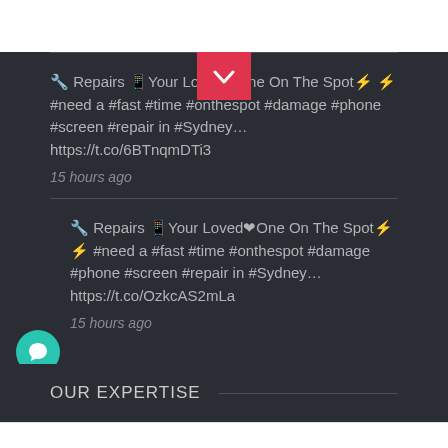[Figure (screenshot): Pink/red chevron down button at top center of dark section]
🔧 Repairs 📱Your Loved❤One On The Spot⚡ ⚡ #need a #fast #time #onthespot #damage #phone #screen #repair in #Sydney… https://t.co/6BTnqmDTi3
15 hours ago
🔧 Repairs 📱Your Loved❤One On The Spot⚡ ⚡ #need a #fast #time #onthespot #damage #phone #screen #repair in #Sydney… https://t.co/OzkcAS2mLa
15 hours ago
[Figure (illustration): Teal circular chat/message bubble icon button on the left side]
OUR EXPERTISE
SYDNEY CBD REPAIR CENTRE  MENU ☰